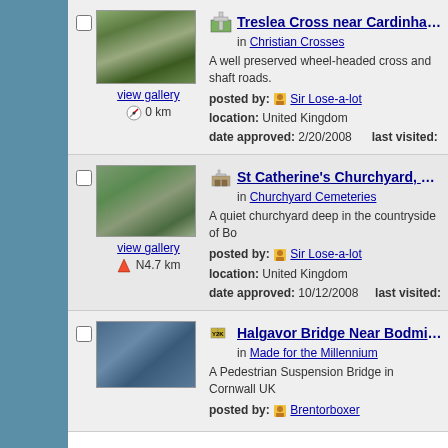[Figure (screenshot): Website listing page showing geographic/heritage site entries with photos, titles, categories, descriptions, and metadata including posted by, location, date approved, and last visited fields. Three entries visible: Treslea Cross near Cardinham, St Catherine's Churchyard Temple, and Halgavor Bridge Near Bodmin.]